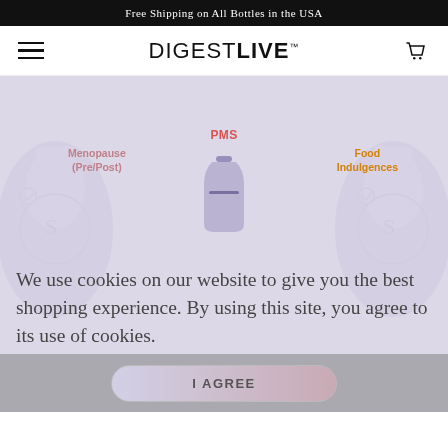Free Shipping on All Bottles in the USA
[Figure (logo): DigestLIVE logo with hamburger menu icon and shopping basket icon]
[Figure (infographic): Purple/lavender background with floating product labels: PMS (red), Menopause Pre/Post (pink), Food Indulgences (orange), and ghost bottle silhouettes]
We use cookies on our website to give you the best shopping experience. By using this site, you agree to its use of cookies.
I AGREE